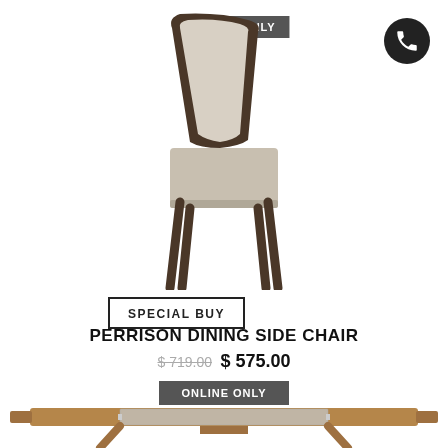[Figure (photo): Dining side chair with upholstered cream/beige seat and back, dark walnut wooden legs, shown from a slight angle. 'ONLINE ONLY' badge overlaid at top.]
SPECIAL BUY
PERRISON DINING SIDE CHAIR
$ 719.00 $ 575.00
ONLINE ONLY
[Figure (photo): Partial view of a dining table with walnut wood finish and glass center panel, mid-century modern style legs.]